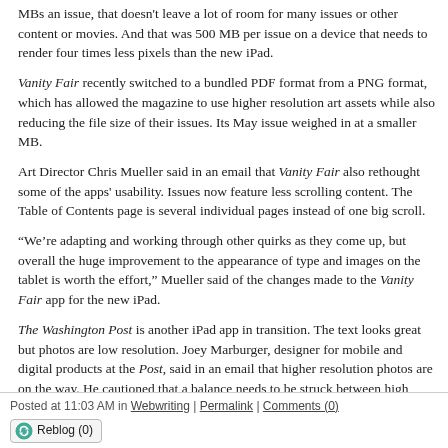MBs an issue, that doesn't leave a lot of room for many issues or other content or movies. And that was 500 MB per issue on a device that needs to render four times less pixels than the new iPad.
Vanity Fair recently switched to a bundled PDF format from a PNG format, which has allowed the magazine to use higher resolution art assets while also reducing the file size of their issues. Its May issue weighed in at [X] MB.
Art Director Chris Mueller said in an email that Vanity Fair also rethoought some of the apps' usability. Issues now feature less scrolling content. The Table of Contents page is several individual pages instead of one big scroll.
“We’re adapting and working through other quirks as they come up, but overall the huge improvement to the appearance of type and images on the tablet is worth the effort,” Mueller said of the changes made to the Vanity Fair app for the new iPad.
The Washington Post is another iPad app in transition. The text looks great but photos are low resolution. Joey Marburger, designer for mobile and digital products at the Post, said in an email that higher resolution photos are on the way. He cautioned that a balance needs to be struck between high resolution photos and download speed.
He said that offline storage is another issue that iPad news app makers need to take into account. (iPads hold a small fraction of what desktop or laptops can hold.)
Posted at 11:03 AM in Webwriting | Permalink | Comments (0)
Reblog (0)